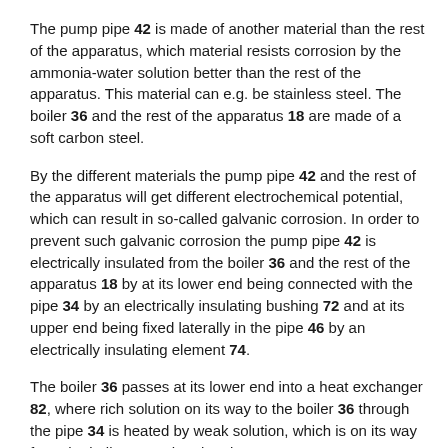The pump pipe 42 is made of another material than the rest of the apparatus, which material resists corrosion by the ammonia-water solution better than the rest of the apparatus. This material can e.g. be stainless steel. The boiler 36 and the rest of the apparatus 18 are made of a soft carbon steel.
By the different materials the pump pipe 42 and the rest of the apparatus will get different electrochemical potential, which can result in so-called galvanic corrosion. In order to prevent such galvanic corrosion the pump pipe 42 is electrically insulated from the boiler 36 and the rest of the apparatus 18 by at its lower end being connected with the pipe 34 by an electrically insulating bushing 72 and at its upper end being fixed laterally in the pipe 46 by an electrically insulating element 74.
The boiler 36 passes at its lower end into a heat exchanger 82, where rich solution on its way to the boiler 36 through the pipe 34 is heated by weak solution, which is on its way from the boiler 36 to the absorber 60.
According to a variant of the invention the pipe 34 is made